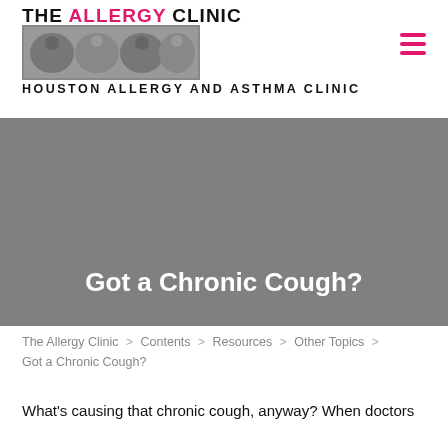[Figure (logo): The Allergy Clinic logo with stylized animal illustration and subtitle 'Houston Allergy and Asthma Clinic']
[Figure (illustration): Hamburger menu icon (three pink/magenta horizontal bars) in top right corner]
Got a Chronic Cough?
The Allergy Clinic > Contents > Resources > Other Topics > Got a Chronic Cough?
What's causing that chronic cough, anyway? When doctors